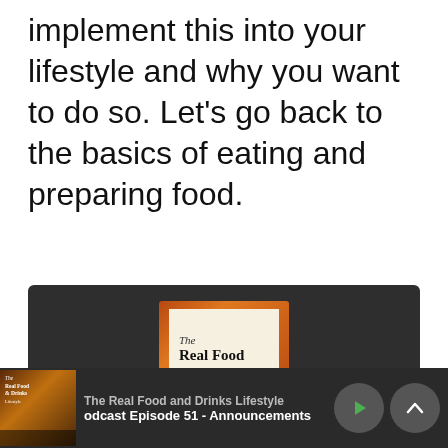implement this into your lifestyle and why you want to do so. Let's go back to the basics of eating and preparing food.
[Figure (screenshot): Podcast app screenshot showing 'The Real Food and Drinks Lifestyle' podcast card for 'Episode 32 - One sure way to upgrade your health' with a podcast logo and play/more buttons, on a dark background.]
[Figure (screenshot): Bottom podcast player bar showing thumbnail, 'The Real Food and Drinks Lifestyle' title, 'odcast Episode 51 - Announcements' episode text, play button, and up chevron button on dark background.]